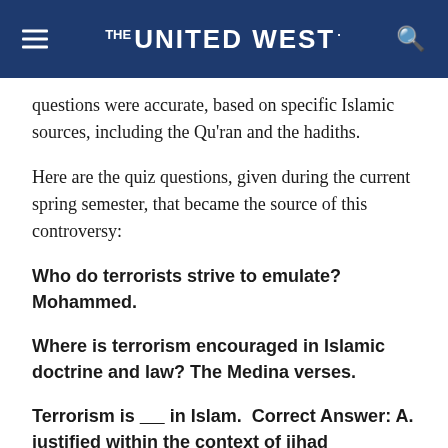THE UNITED WEST.
questions were accurate, based on specific Islamic sources, including the Qu'ran and the hadiths.
Here are the quiz questions, given during the current spring semester, that became the source of this controversy:
Who do terrorists strive to emulate? Mohammed.
Where is terrorism encouraged in Islamic doctrine and law? The Medina verses.
Terrorism is _____ in Islam.  Correct Answer: A. justified within the context of jihad
A student, who previously said he had been enjoying the